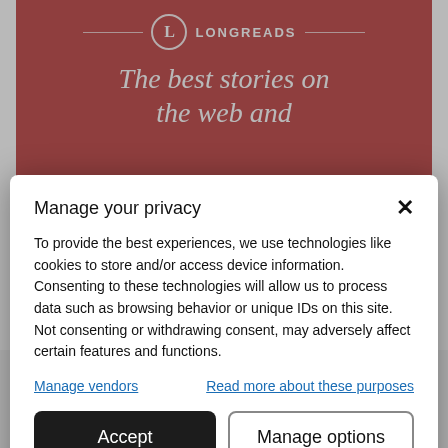[Figure (screenshot): Longreads website banner with red background showing logo and tagline 'The best stories on the...']
Manage your privacy
To provide the best experiences, we use technologies like cookies to store and/or access device information. Consenting to these technologies will allow us to process data such as browsing behavior or unique IDs on this site. Not consenting or withdrawing consent, may adversely affect certain features and functions.
Manage vendors
Read more about these purposes
Accept
Manage options
Cookie Policy  Privacy Statement
Advertisements
[Figure (screenshot): WordPress.com advertisement banner: 'Simplified pricing for everything you need.']